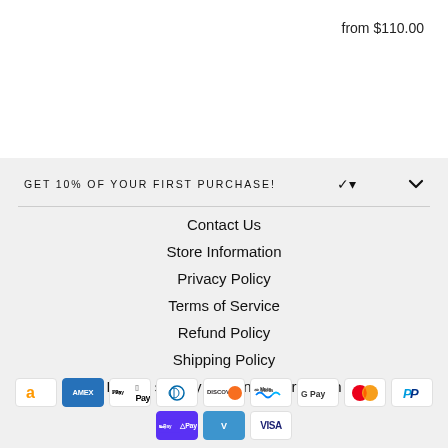from $110.00
GET 10% OF YOUR FIRST PURCHASE!
Contact Us
Store Information
Privacy Policy
Terms of Service
Refund Policy
Shipping Policy
Do not sell my personal information
[Figure (logo): Payment method icons: Amazon, Amex, Apple Pay, Diners Club, Discover, Meta Pay, Google Pay, Mastercard, PayPal (top row); Shop Pay, Venmo, Visa (bottom row)]